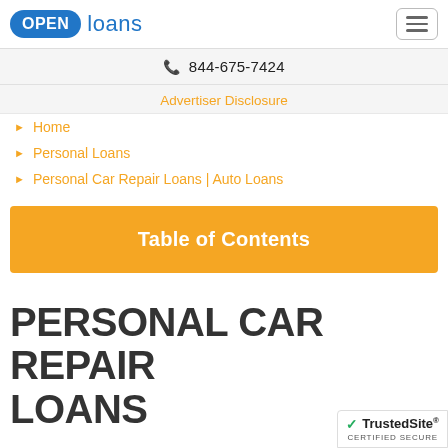OPEN loans
844-675-7424
Advertiser Disclosure
Home
Personal Loans
Personal Car Repair Loans | Auto Loans
Table of Contents
PERSONAL CAR REPAIR LOANS
[Figure (logo): TrustedSite Certified Secure badge]